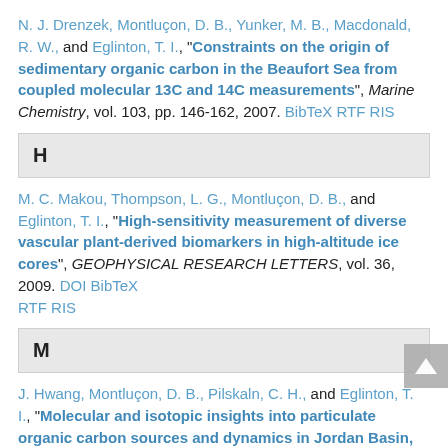N. J. Drenzek, Montluçon, D. B., Yunker, M. B., Macdonald, R. W., and Eglinton, T. I., "Constraints on the origin of sedimentary organic carbon in the Beaufort Sea from coupled molecular 13C and 14C measurements", Marine Chemistry, vol. 103, pp. 146-162, 2007. BibTeX RTF RIS
H
M. C. Makou, Thompson, L. G., Montluçon, D. B., and Eglinton, T. I., "High-sensitivity measurement of diverse vascular plant-derived biomarkers in high-altitude ice cores", GEOPHYSICAL RESEARCH LETTERS, vol. 36, 2009. DOI BibTeX RTF RIS
M
J. Hwang, Montluçon, D. B., Pilskaln, C. H., and Eglinton, T. I., "Molecular and isotopic insights into particulate organic carbon sources and dynamics in Jordan Basin, Gulf of Maine", Continental Shelf Research, vol. 68, pp. 15-22, 2013. DOI BibTeX RTF RIS